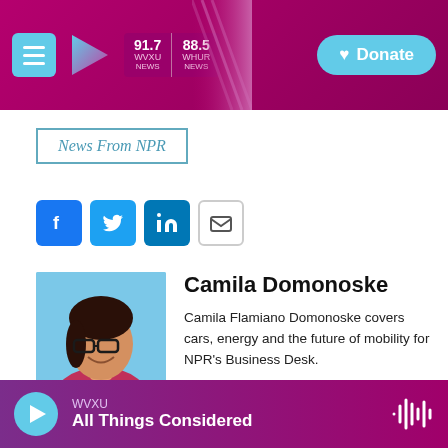WVXU 91.7 NEWS | WHUB 88.5 NEWS | Donate
News From NPR
[Figure (other): Social sharing buttons: Facebook, Twitter, LinkedIn, Email]
[Figure (photo): Headshot photo of Camila Domonoske, a woman with dark hair and glasses wearing a red/magenta top, against a blue background]
Camila Domonoske
Camila Flamiano Domonoske covers cars, energy and the future of mobility for NPR's Business Desk.
See stories by Camila Domonoske
WVXU — All Things Considered